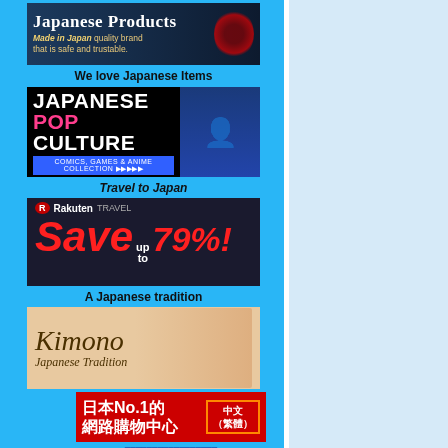[Figure (illustration): Japanese Products banner ad - dark blue background with 'Japanese Products' title and text 'Made in Japan quality brand that is safe and trustable.']
We love Japanese Items
[Figure (illustration): Japanese Pop Culture banner - black background with white 'JAPANESE', pink 'POP', white 'CULTURE' text and anime character images, blue bottom bar 'COMICS, GAMES & ANIME COLLECTION']
Travel to Japan
[Figure (illustration): Rakuten Travel banner - dark background with Rakuten logo and 'Save up to 79%!' in red italic text]
A Japanese tradition
[Figure (illustration): Kimono Japanese Tradition banner - beige background with cursive Kimono text and kimono fabric image]
[Figure (illustration): Chinese banner - red background with '日本No.1的 網路購物中心' and '中文（繁體）' label]
直送到中国各地！ 中文（简体）
0.1
○■■ □□□□□□□□◆ ◆
Japanese Trend epidemic and R Eng
○■■ □□□□□□□□◆
○■■ ch